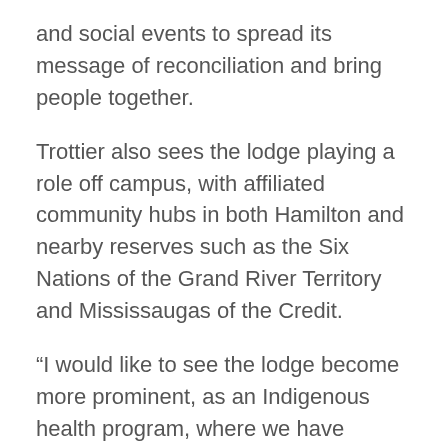and social events to spread its message of reconciliation and bring people together.
Trottier also sees the lodge playing a role off campus, with affiliated community hubs in both Hamilton and nearby reserves such as the Six Nations of the Grand River Territory and Mississaugas of the Credit.
“I would like to see the lodge become more prominent, as an Indigenous health program, where we have faculty of our own, rather than just folks who are cross-appointed, and are able to teach Indigenous health knowledge to people and integrate a lot more of the First Nations community in this area,” she said.
Trottier, a social worker, has been an advocate for